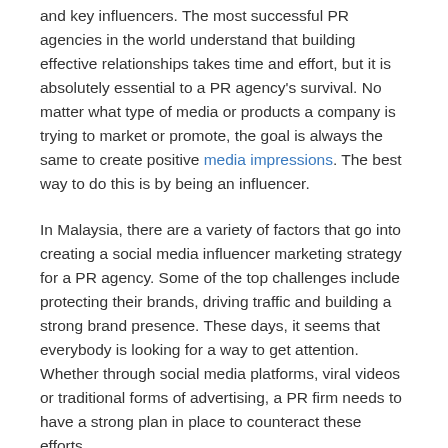and key influencers. The most successful PR agencies in the world understand that building effective relationships takes time and effort, but it is absolutely essential to a PR agency's survival. No matter what type of media or products a company is trying to market or promote, the goal is always the same to create positive media impressions. The best way to do this is by being an influencer.
In Malaysia, there are a variety of factors that go into creating a social media influencer marketing strategy for a PR agency. Some of the top challenges include protecting their brands, driving traffic and building a strong brand presence. These days, it seems that everybody is looking for a way to get attention. Whether through social media platforms, viral videos or traditional forms of advertising, a PR firm needs to have a strong plan in place to counteract these efforts.
Social media is one of the fastest growing trends, with millions of users posting and sharing every day on Twitter, Facebook and the likes. This means that any company that wants to make a mark must be able to communicate effectively using this platform. A good PR company has a dedicated team that works on SEO (search engine optimization) and SMO (social media marketing). These experts will help a company build a strong online reputation that can attract customers. A company without a solid media